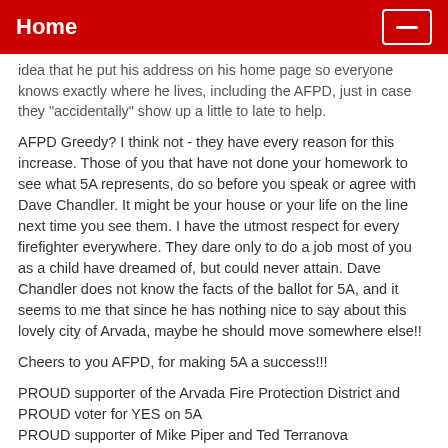Home
idea that he put his address on his home page so everyone knows exactly where he lives, including the AFPD, just in case they "accidentally" show up a little to late to help.
AFPD Greedy? I think not - they have every reason for this increase. Those of you that have not done your homework to see what 5A represents, do so before you speak or agree with Dave Chandler. It might be your house or your life on the line next time you see them. I have the utmost respect for every firefighter everywhere. They dare only to do a job most of you as a child have dreamed of, but could never attain. Dave Chandler does not know the facts of the ballot for 5A, and it seems to me that since he has nothing nice to say about this lovely city of Arvada, maybe he should move somewhere else!!
Cheers to you AFPD, for making 5A a success!!!
PROUD supporter of the Arvada Fire Protection District and PROUD voter for YES on 5A
PROUD supporter of Mike Piper and Ted Terranova
Posted by: Lilly | November 03, 2010 at 12:39 PM